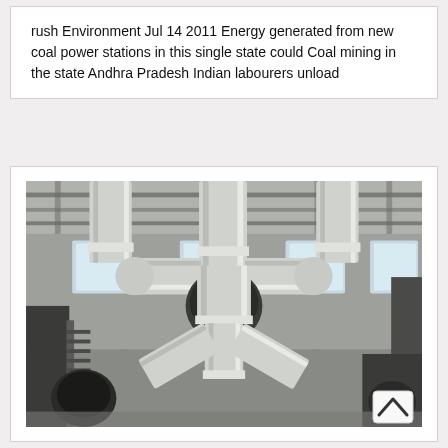rush Environment Jul 14 2011 Energy generated from new coal power stations in this single state could Coal mining in the state Andhra Pradesh Indian labourers unload
[Figure (photo): Interior of an industrial facility showing large gray cylindrical pipes and ductwork in a Y-shaped configuration inside a large warehouse/factory building with windows and steel framework visible in the background.]